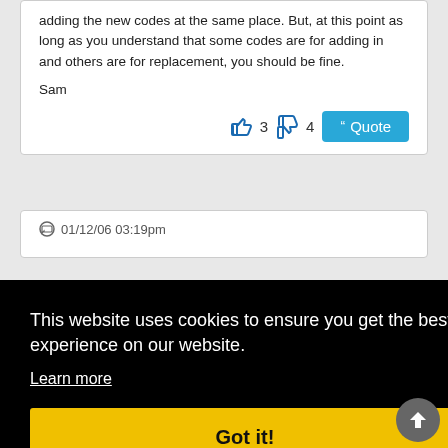adding the new codes at the same place. But, at this point as long as you understand that some codes are for adding in and others are for replacement, you should be fine.
Sam
👍 3   👎 4   Quote
💬 01/12/06 03:19pm
This website uses cookies to ensure you get the best experience on our website.
Learn more
Got it!